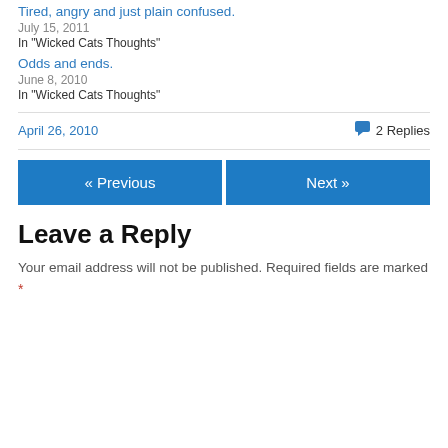Tired, angry and just plain confused.
July 15, 2011
In "Wicked Cats Thoughts"
Odds and ends.
June 8, 2010
In "Wicked Cats Thoughts"
April 26, 2010
2 Replies
« Previous
Next »
Leave a Reply
Your email address will not be published. Required fields are marked *